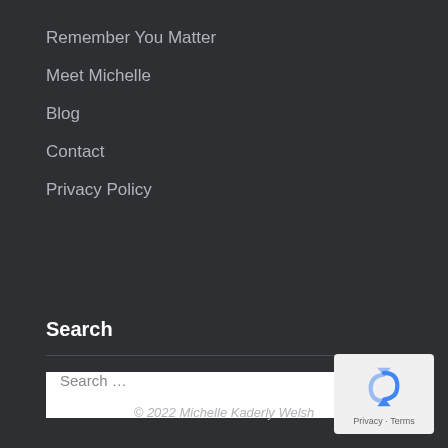Remember You Matter
Meet Michelle
Blog
Contact
Privacy Policy
Search
Search …
© 2022 Michelle Kaderly Welsh